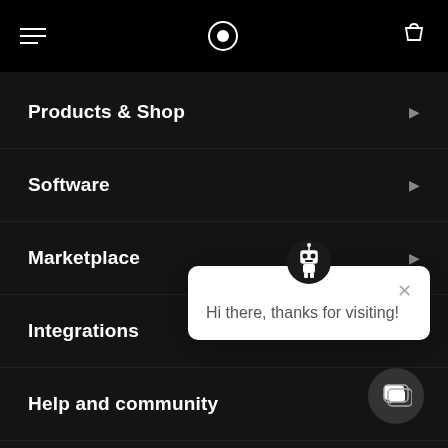[Figure (screenshot): Navigation bar with hamburger menu icon on left, circular logo in center on black background, shopping bag icon on right]
Products & Shop
Software
Marketplace
Integrations
Help and community
Account
Hi there, thanks for visiting!